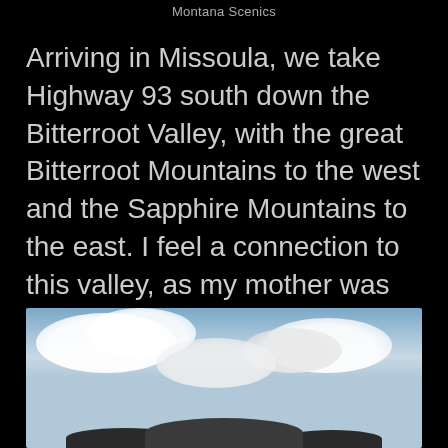Montana Scenics
Arriving in Missoula, we take Highway 93 south down the Bitterroot Valley, with the great Bitterroot Mountains to the west and the Sapphire Mountains to the east. I feel a connection to this valley, as my mother was born and grew up here, and my father’s parents moved to this valley when he was a child, so he also was raised here. Two of my sisters, as well as cousins, nephews and nieces, still live in the Bitterroot Valley.
[Figure (photo): Scenic photo of sky with large white clouds over a mountain landscape with dark mountain silhouettes at the bottom]